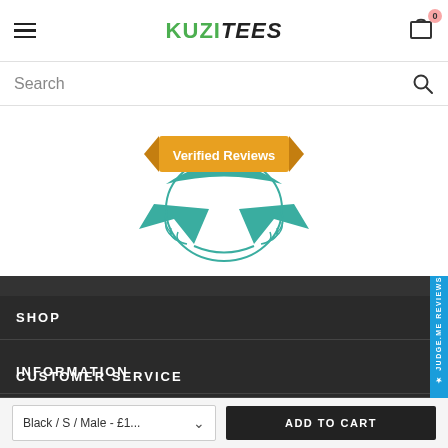KUZI TEES
Search
[Figure (logo): Verified Reviews badge with teal ribbon, laurel wreath, and orange banner reading 'Verified Reviews']
SHOP
INFORMATION
CUSTOMER SERVICE
STAY CONNECTED
Black / S / Male - £1... ADD TO CART